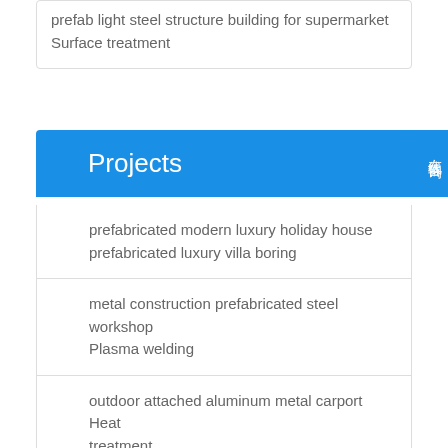prefab light steel structure building for supermarket Surface treatment
Projects
prefabricated modern luxury holiday house prefabricated luxury villa boring
metal construction prefabricated steel workshop Plasma welding
outdoor attached aluminum metal carport Heat treatment
earthquake resistant container house Cutting
prefabricated aluminium steel structure house luxu Heat treatment